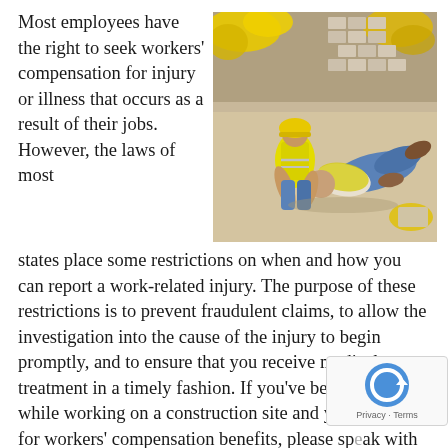Most employees have the right to seek workers' compensation for injury or illness that occurs as a result of their jobs. However, the laws of most
[Figure (photo): Construction site accident scene: one worker in yellow safety vest and hard hat kneeling over another injured worker lying on the ground, surrounded by building materials and yellow safety equipment]
states place some restrictions on when and how you can report a work-related injury. The purpose of these restrictions is to prevent fraudulent claims, to allow the investigation into the cause of the injury to begin promptly, and to ensure that you receive medical treatment in a timely fashion. If you've been injured while working on a construction site and you're eligible for workers' compensation benefits, please sp an experienced Brooklyn, NY construction injury lawye soon as you can to preserve your access to these benefits. If